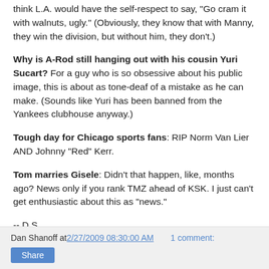think L.A. would have the self-respect to say, "Go cram it with walnuts, ugly." (Obviously, they know that with Manny, they win the division, but without him, they don't.)
Why is A-Rod still hanging out with his cousin Yuri Sucart? For a guy who is so obsessive about his public image, this is about as tone-deaf of a mistake as he can make. (Sounds like Yuri has been banned from the Yankees clubhouse anyway.)
Tough day for Chicago sports fans: RIP Norm Van Lier AND Johnny "Red" Kerr.
Tom marries Gisele: Didn't that happen, like, months ago? News only if you rank TMZ ahead of KSK. I just can't get enthusiastic about this as "news."
-- D.S.
Dan Shanoff at 2/27/2009 08:30:00 AM   1 comment: